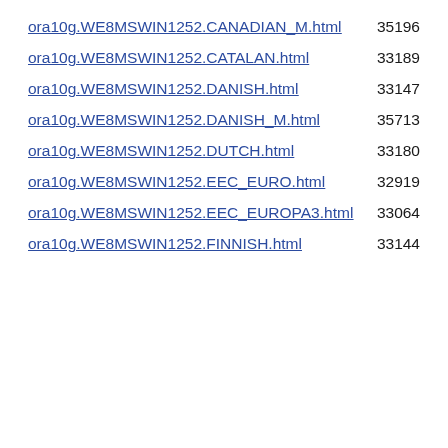ora10g.WE8MSWIN1252.CANADIAN_M.html  35196
ora10g.WE8MSWIN1252.CATALAN.html  33189
ora10g.WE8MSWIN1252.DANISH.html  33147
ora10g.WE8MSWIN1252.DANISH_M.html  35713
ora10g.WE8MSWIN1252.DUTCH.html  33180
ora10g.WE8MSWIN1252.EEC_EURO.html  32919
ora10g.WE8MSWIN1252.EEC_EUROPA3.html  33064
ora10g.WE8MSWIN1252.FINNISH.html  33144